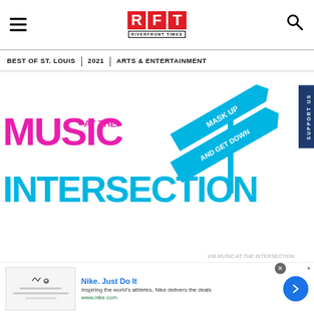RFT RIVERFRONT TIMES
BEST OF ST. LOUIS | 2021 | ARTS & ENTERTAINMENT
[Figure (logo): Music at the Intersection festival logo with street sign arrows reading MASK UP AND GET DOWN, pink MUSIC text, blue INTERSECTION text, and AT THE in smaller pink text]
VIA MUSIC AT THE INTERSECTION
[Figure (other): Nike advertisement banner: Nike. Just Do It — Inspiring the world's athletes, Nike delivers the deals — www.nike.com]